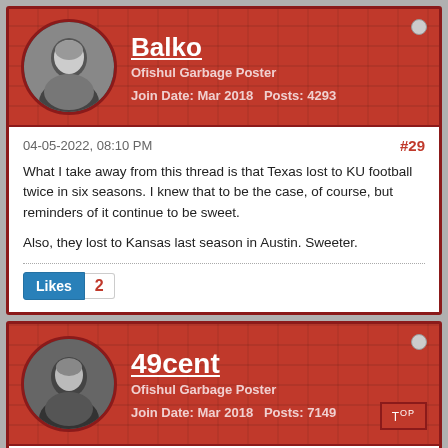Balko — Ofishul Garbage Poster — Join Date: Mar 2018 Posts: 4293
04-05-2022, 08:10 PM #29
What I take away from this thread is that Texas lost to KU football twice in six seasons. I knew that to be the case, of course, but reminders of it continue to be sweet.

Also, they lost to Kansas last season in Austin. Sweeter.
Likes 2
49cent — Ofishul Garbage Poster — Join Date: Mar 2018 Posts: 7149
04-06-2022, 08:30 AM #30
Originally posted by Hermit